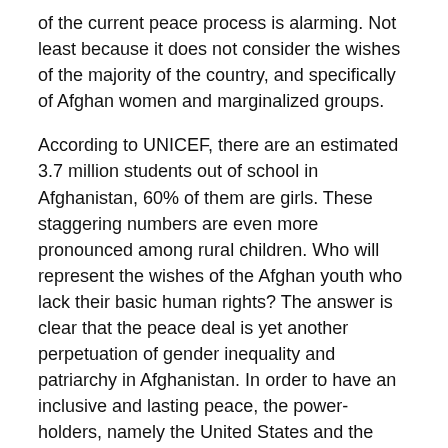of the current peace process is alarming. Not least because it does not consider the wishes of the majority of the country, and specifically of Afghan women and marginalized groups.
According to UNICEF, there are an estimated 3.7 million students out of school in Afghanistan, 60% of them are girls. These staggering numbers are even more pronounced among rural children. Who will represent the wishes of the Afghan youth who lack their basic human rights? The answer is clear that the peace deal is yet another perpetuation of gender inequality and patriarchy in Afghanistan. In order to have an inclusive and lasting peace, the power-holders, namely the United States and the Afghan governments, must recognize that women and other marginalized groups should be part of the process. Ensuring an intersectional approach to the peace process, where the most disadvantaged of Afghans can have a seat at the table means that the rest of the country will be represented.
Maryam Laly is a member of Free Women Writers collective,